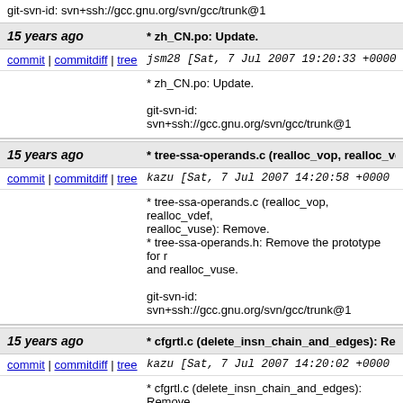git-svn-id: svn+ssh://gcc.gnu.org/svn/gcc/trunk@1
15 years ago * zh_CN.po: Update.
commit | commitdiff | tree   jsm28 [Sat, 7 Jul 2007 19:20:33 +0000 (1
* zh_CN.po: Update.
git-svn-id: svn+ssh://gcc.gnu.org/svn/gcc/trunk@1
15 years ago * tree-ssa-operands.c (realloc_vop, realloc_vde
commit | commitdiff | tree   kazu [Sat, 7 Jul 2007 14:20:58 +0000 (14
* tree-ssa-operands.c (realloc_vop, realloc_vdef, realloc_vuse): Remove.
* tree-ssa-operands.h: Remove the prototype for r and realloc_vuse.
git-svn-id: svn+ssh://gcc.gnu.org/svn/gcc/trunk@1
15 years ago * cfgrtl.c (delete_insn_chain_and_edges): Rem
commit | commitdiff | tree   kazu [Sat, 7 Jul 2007 14:20:02 +0000 (14
* cfgrtl.c (delete_insn_chain_and_edges): Remove
* rtl.h: Remove the prototype for delete_insn_chai